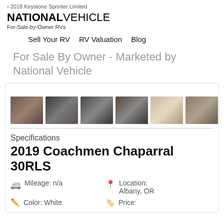› 2018 Keystone Sprinter Limited
[Figure (logo): National Vehicle logo with tagline For-Sale-by-Owner RVs]
Sell Your RV   RV Valuation   Blog
For Sale By Owner - Marketed by National Vehicle
[Figure (photo): Six thumbnail photos of RV interior views showing living area, kitchen, appliances, entertainment center, bedroom, and storage areas]
Specifications
2019 Coachmen Chaparral 30RLS
Mileage: n/a
Location: Albany, OR
Color: White
Price: